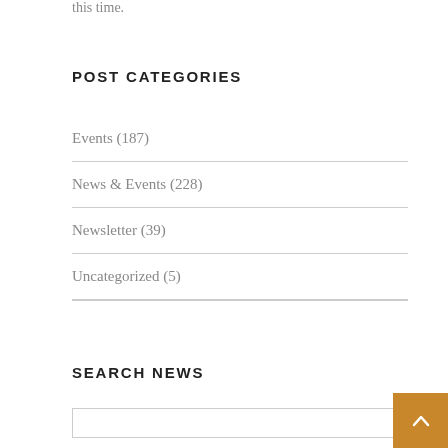this time.
POST CATEGORIES
Events (187)
News & Events (228)
Newsletter (39)
Uncategorized (5)
SEARCH NEWS